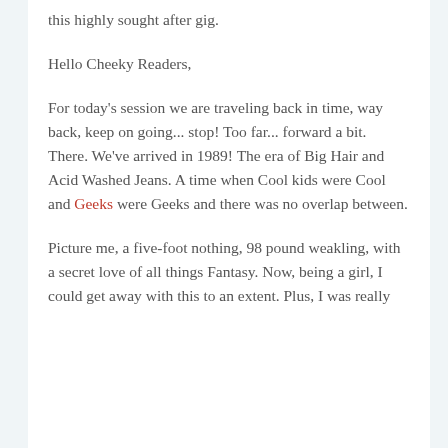this highly sought after gig.
Hello Cheeky Readers,
For today's session we are traveling back in time, way back, keep on going... stop!  Too far... forward a bit.  There.  We've arrived in 1989!  The era of Big Hair and Acid Washed Jeans.  A time when Cool kids were Cool and Geeks were Geeks and there was no overlap between.
Picture me, a five-foot nothing, 98 pound weakling, with a secret love of all things Fantasy.  Now, being a girl, I could get away with this to an extent.  Plus, I was really